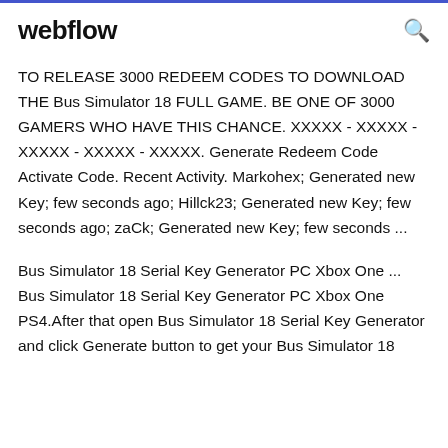webflow
TO RELEASE 3000 REDEEM CODES TO DOWNLOAD THE Bus Simulator 18 FULL GAME. BE ONE OF 3000 GAMERS WHO HAVE THIS CHANCE. XXXXX - XXXXX - XXXXX - XXXXX - XXXXX. Generate Redeem Code Activate Code. Recent Activity. Markohex; Generated new Key; few seconds ago; Hillck23; Generated new Key; few seconds ago; zaCk; Generated new Key; few seconds ...
Bus Simulator 18 Serial Key Generator PC Xbox One ... Bus Simulator 18 Serial Key Generator PC Xbox One PS4.After that open Bus Simulator 18 Serial Key Generator and click Generate button to get your Bus Simulator 18